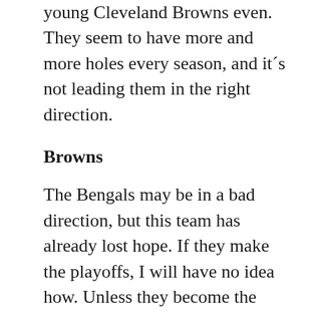young Cleveland Browns even. They seem to have more and more holes every season, and it´s not leading them in the right direction.
Browns
The Bengals may be in a bad direction, but this team has already lost hope. If they make the playoffs, I will have no idea how. Unless they become the 2016 Orioles of football, you can rule out the Browns. They may have had a league best draft, but that will take a while to kick in. For now, they are an old washed up team that needs to keep going younger. The draft definitely helped, and Corey Coleman should definitely make a big impact, but is it